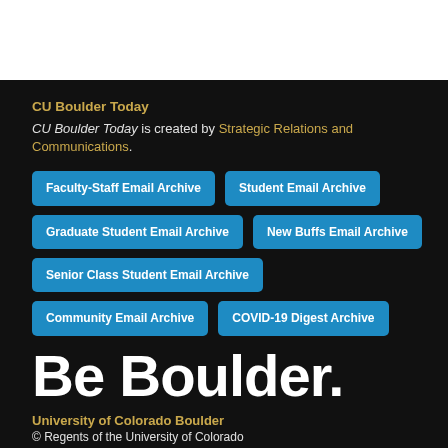CU Boulder Today
CU Boulder Today is created by Strategic Relations and Communications.
Faculty-Staff Email Archive
Student Email Archive
Graduate Student Email Archive
New Buffs Email Archive
Senior Class Student Email Archive
Community Email Archive
COVID-19 Digest Archive
Be Boulder.
University of Colorado Boulder
© Regents of the University of Colorado